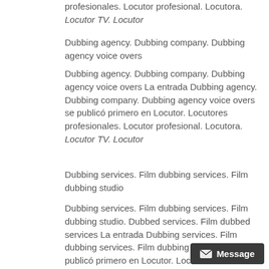profesionales. Locutor profesional. Locutora. Locutor TV. Locutor
Dubbing agency. Dubbing company. Dubbing agency voice overs
Dubbing agency. Dubbing company. Dubbing agency voice overs La entrada Dubbing agency. Dubbing company. Dubbing agency voice overs se publicó primero en Locutor. Locutores profesionales. Locutor profesional. Locutora. Locutor TV. Locutor
Dubbing services. Film dubbing services. Film dubbing studio
Dubbing services. Film dubbing services. Film dubbing studio. Dubbed services. Film dubbed services La entrada Dubbing services. Film dubbing services. Film dubbing studio se publicó primero en Locutor. Locutores profesionales. Locutor profesional. Locutora.